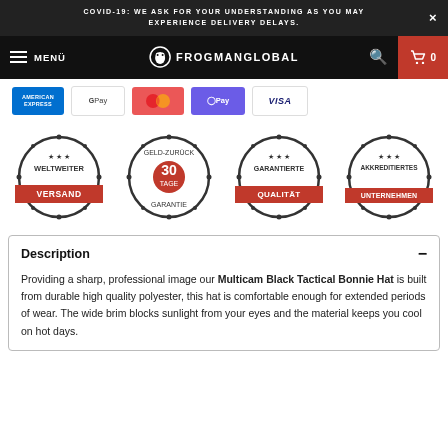COVID-19: WE ASK FOR YOUR UNDERSTANDING AS YOU MAY EXPERIENCE DELIVERY DELAYS.
[Figure (screenshot): Frogman Global navigation bar with hamburger menu, MENÜ text, Frogman Global logo, search icon, and cart button showing 0]
[Figure (infographic): Payment method logos: American Express, Google Pay, MasterCard, O Pay, VISA]
[Figure (infographic): Four trust badges: WELTWEITER VERSAND (worldwide shipping), GELD-ZURÜCK GARANTIE 30 TAGE (30-day money back guarantee), GARANTIERTE QUALITÄT (guaranteed quality), AKKREDITIERTES UNTERNEHMEN (accredited company)]
Description
Providing a sharp, professional image our Multicam Black Tactical Bonnie Hat is built from durable high quality polyester, this hat is comfortable enough for extended periods of wear. The wide brim blocks sunlight from your eyes and the material keeps you cool on hot days.